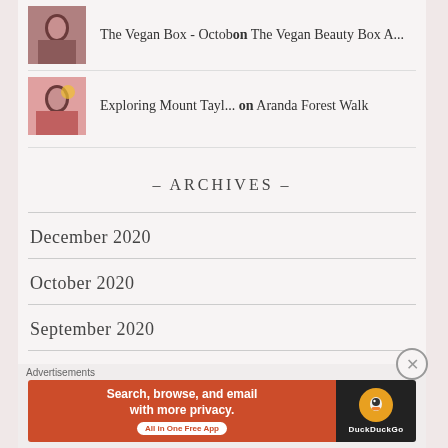The Vegan Box - October on The Vegan Beauty Box A...
Exploring Mount Tayl... on Aranda Forest Walk
- Archives -
December 2020
October 2020
September 2020
August 2020
Advertisements
[Figure (screenshot): DuckDuckGo advertisement banner: 'Search, browse, and email with more privacy. All in One Free App' with DuckDuckGo logo on dark background]